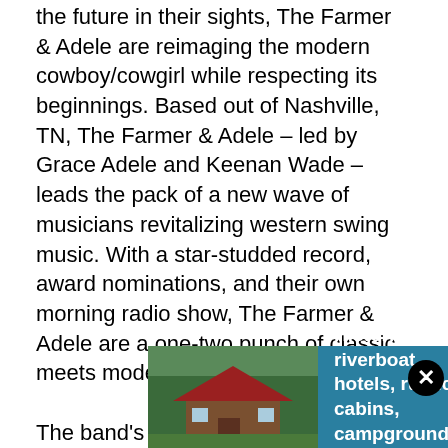the future in their sights, The Farmer & Adele are reimaging the modern cowboy/cowgirl while respecting its beginnings. Based out of Nashville, TN, The Farmer & Adele – led by Grace Adele and Keenan Wade – leads the pack of a new wave of musicians revitalizing western swing music. With a star-studded record, award nominations, and their own morning radio show, The Farmer & Adele are a one-two punch of classic meets modern.
The band's debut effort, Into the Wide Open Sky, combines original compositions rooted in familiar styles of the American landscape. Traces of classic country, jazz, and Tin Pan Alley songwriting interweave throughout the group's top-notch musicianship. The record also features a collaborative guest appearance from Grammy Award-winning western swing icons Riders In The Sky, who back the band on their morning radio show. The Farmer & Adele host a morning radio show. "On The Trail with The Farmer & Adele" features cuts of
[Figure (other): Advertisement banner with image of a rustic cabin with red roof and trees, alongside teal/blue box with bold white text reading 'Historic riverboat hotels, rustic cabins, campgrounds and more.' with a close button.]